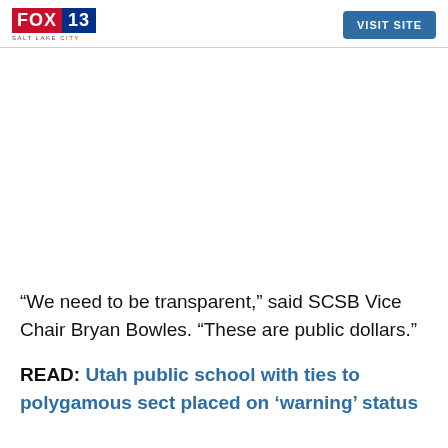FOX 13 SALT LAKE CITY | VISIT SITE
“We need to be transparent,” said SCSB Vice Chair Bryan Bowles. “These are public dollars.”
READ: Utah public school with ties to polygamous sect placed on ‘warning’ status